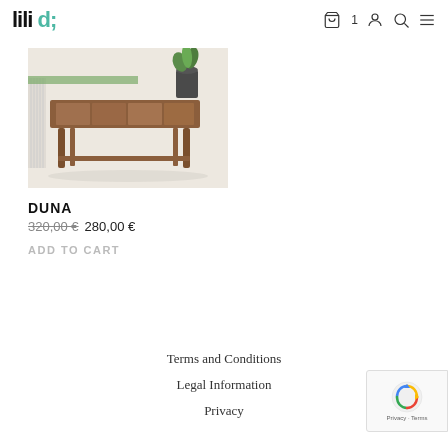lili (logo) | cart 1 | account | search | menu
[Figure (photo): A mid-century modern wooden coffee table with tile inlay top, photographed on a white background with a small potted plant in the background.]
DUNA
320,00 €  280,00 €
ADD TO CART
Terms and Conditions
Legal Information
Privacy